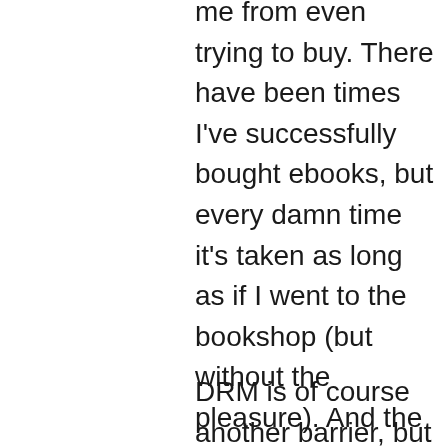me from even trying to buy. There have been times I've successfully bought ebooks, but every damn time it's taken as long as if I went to the bookshop (but without the pleasure). And the effort has been one-use-only (Great! I got Lauren Beukes' Zoo City from Robot Books! But they don't have any author I've looked for since…). It is so much easier to *find* a book by pirating.
DRM is of course another barrier, but that's received enough pushback that it's an eroding model. Still, I've lost access to quite expensive purchased books because